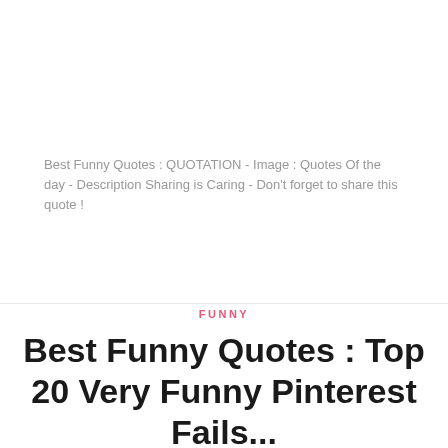Best Funny Quotes : QUOTATION - Image : Quotes Of the day - Description Sharing is Caring - Don't forget to share this quote !
READ MORE
FUNNY
Best Funny Quotes : Top 20 Very Funny Pinterest Fails...
AUGUST 2, 2017